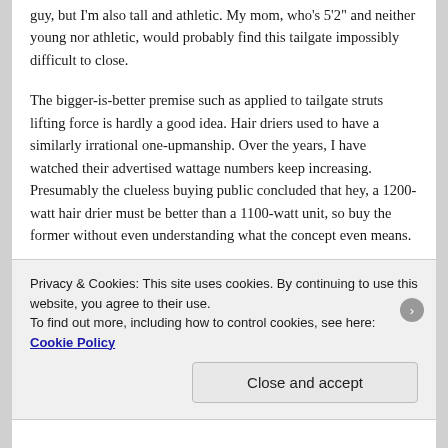guy, but I'm also tall and athletic. My mom, who's 5'2" and neither young nor athletic, would probably find this tailgate impossibly difficult to close.
The bigger-is-better premise such as applied to tailgate struts lifting force is hardly a good idea. Hair driers used to have a similarly irrational one-upmanship. Over the years, I have watched their advertised wattage numbers keep increasing. Presumably the clueless buying public concluded that hey, a 1200-watt hair drier must be better than a 1100-watt unit, so buy the former without even understanding what the concept even means.
Why, perhaps I could help natural selection along and offer to folks with that mindset a 100,000-watt hair drier
Privacy & Cookies: This site uses cookies. By continuing to use this website, you agree to their use.
To find out more, including how to control cookies, see here: Cookie Policy